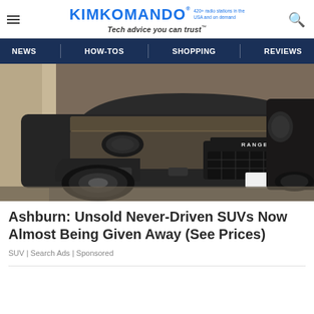KIMKOMANDO® 420+ radio stations in the USA and on demand Tech advice you can trust™
NEWS | HOW-TOS | SHOPPING | REVIEWS
[Figure (photo): A dusty black Range Rover SUV parked next to another dark SUV]
Ashburn: Unsold Never-Driven SUVs Now Almost Being Given Away (See Prices)
SUV | Search Ads | Sponsored